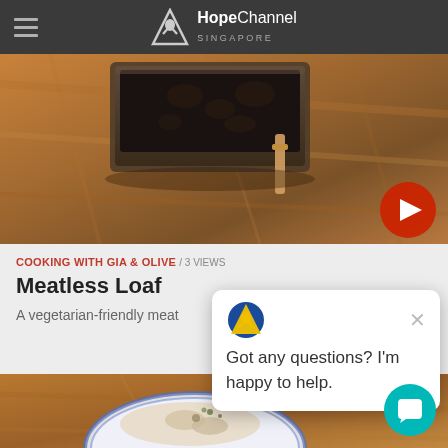HopeChannel SINGAPORE
[Figure (screenshot): Hero image showing a dark loaf pan on a wooden surface with a red play button in the bottom right corner]
COOKING WITH GIA & OLIVE / 3 VIEWS
Meatless Loaf
A vegetarian-friendly meat
[Figure (screenshot): Chat popup with Hope Channel logo icon showing message: Got any questions? I'm happy to help.]
[Figure (photo): Bottom image showing a blue and white bowl with food on a wooden surface]
[Figure (other): Teal chat/support floating action button in bottom right corner]